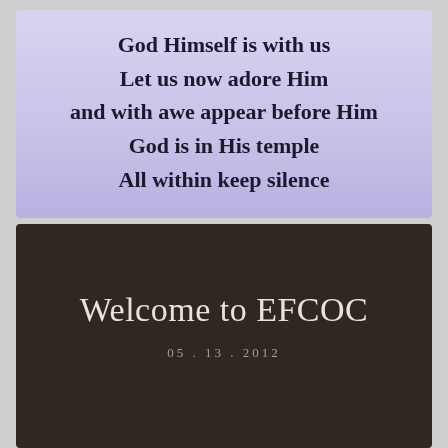God Himself is with us
Let us now adore Him
and with awe appear before Him
God is in His temple
All within keep silence
Welcome to EFCOC
05 . 13 . 2012